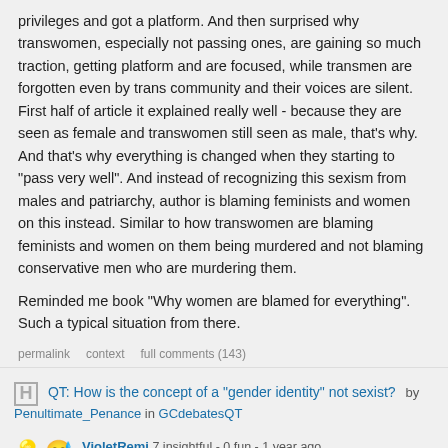privileges and got a platform. And then surprised why transwomen, especially not passing ones, are gaining so much traction, getting platform and are focused, while transmen are forgotten even by trans community and their voices are silent. First half of article it explained really well - because they are seen as female and transwomen still seen as male, that's why. And that's why everything is changed when they starting to "pass very well". And instead of recognizing this sexism from males and patriarchy, author is blaming feminists and women on this instead. Similar to how transwomen are blaming feminists and women on them being murdered and not blaming conservative men who are murdering them.
Reminded me book "Why women are blamed for everything". Such a typical situation from there.
permalink   context   full comments (143)
QT: How is the concept of a "gender identity" not sexist?
by Penultimate_Penance in GCdebatesQT
VioletRemi 7 insightful - 0 fun - 1 year ago
It is insane how they are ignoring all the sexism and patriarchy and saying "it was a choice". And they